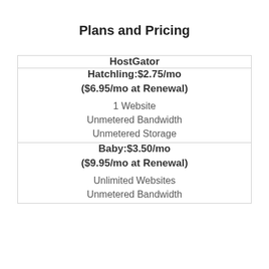Plans and Pricing
| HostGator |
| --- |
| Hatchling:$2.75/mo
($6.95/mo at Renewal)
1 Website
Unmetered Bandwidth
Unmetered Storage |
| Baby:$3.50/mo
($9.95/mo at Renewal)
Unlimited Websites
Unmetered Bandwidth |